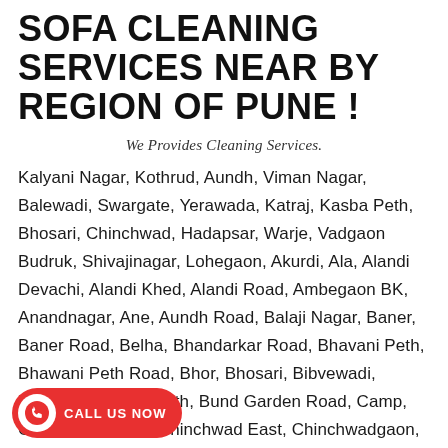SOFA CLEANING SERVICES NEAR BY REGION OF PUNE !
We Provides Cleaning Services.
Kalyani Nagar, Kothrud, Aundh, Viman Nagar, Balewadi, Swargate, Yerawada, Katraj, Kasba Peth, Bhosari, Chinchwad, Hadapsar, Warje, Vadgaon Budruk, Shivajinagar, Lohegaon, Akurdi, Ala, Alandi Devachi, Alandi Khed, Alandi Road, Ambegaon BK, Anandnagar, Ane, Aundh Road, Balaji Nagar, Baner, Baner Road, Belha, Bhandarkar Road, Bhavani Peth, Bhawani Peth Road, Bhor, Bhosari, Bibvewadi, Bopodi, Budhwar Peth, Bund Garden Road, Camp, Chakan, Chikhali, Chinchwad East, Chinchwadgaon, Dapodi,